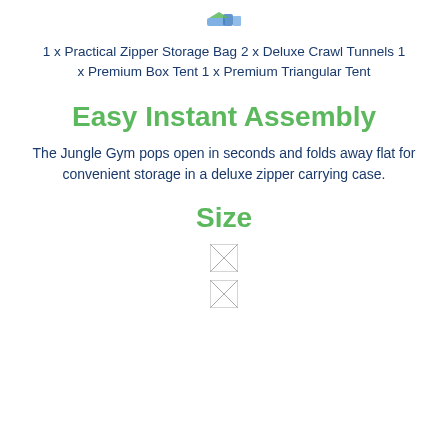[Figure (logo): Small logo/icon at top center]
1 x Practical Zipper Storage Bag 2 x Deluxe Crawl Tunnels 1 x Premium Box Tent 1 x Premium Triangular Tent
Easy Instant Assembly
The Jungle Gym pops open in seconds and folds away flat for convenient storage in a deluxe zipper carrying case.
Size
[Figure (photo): Broken/loading image placeholder 1]
[Figure (photo): Broken/loading image placeholder 2]